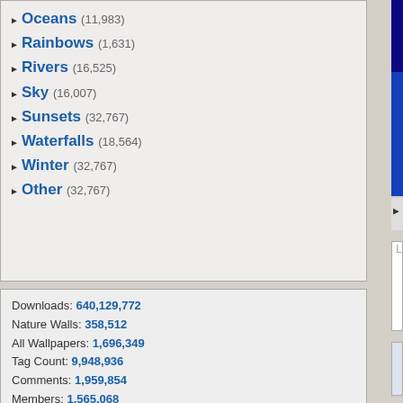Oceans (11,983)
Rainbows (1,631)
Rivers (16,525)
Sky (16,007)
Sunsets (32,767)
Waterfalls (18,564)
Winter (32,767)
Other (32,767)
[Figure (screenshot): Blue/dark blue wallpaper image preview, partially visible]
Report This Wallpaper | Add To F...
Downloads: 640,129,772
Nature Walls: 358,512
All Wallpapers: 1,696,349
Tag Count: 9,948,936
Comments: 1,959,854
Members: 1,565,068
Votes: 12,971,712
5,924 Users Online
103 members, 5,821 guests
AlvaradoSulwen, Anderlecht, artinconstruction, Astro, BestPsychic000, bmpressurewashing2, Boatent98, boliou, brandbajade, bridgecounseling, brighterfinance, CarrollDentistry, cell-phone-hacking, chatonfragile, Cleaners567, ColbyRichardson, cortez68341, crypticpixelseo, cupidc657, deborahhinkley, doyleplumbinggroup, driverjoe, duanvinhomescom, dubmovie, enailvietnam, erahobb,
Leave a comment...
This wallpaper has no comm...